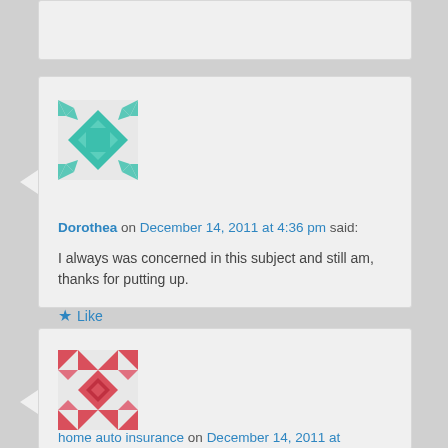[Figure (illustration): Partial comment card at top, cut off]
[Figure (illustration): Teal/green decorative avatar icon for user Dorothea]
Dorothea on December 14, 2011 at 4:36 pm said:
I always was concerned in this subject and still am, thanks for putting up.
★ Like
[Figure (illustration): Red/pink decorative avatar icon for user home auto insurance]
home auto insurance on December 14, 2011 at 12:46 pm said: